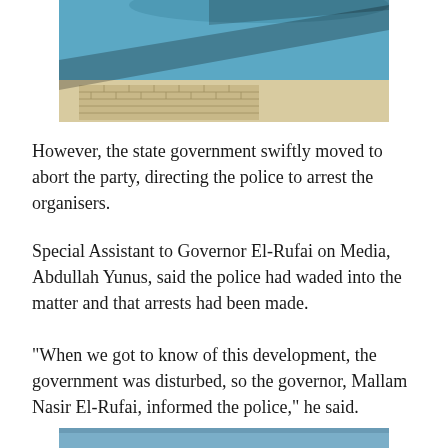[Figure (photo): A photo showing a blue cylindrical water tank or structure with a tiled brick pathway or ground surface in bright sunlight, with a shadow cast diagonally across the scene.]
However, the state government swiftly moved to abort the party, directing the police to arrest the organisers.
Special Assistant to Governor El-Rufai on Media, Abdullah Yunus, said the police had waded into the matter and that arrests had been made.
"When we got to know of this development, the government was disturbed, so the governor, Mallam Nasir El-Rufai, informed the police," he said.
[Figure (photo): A photo showing a blue sky, partially visible at the bottom of the page.]